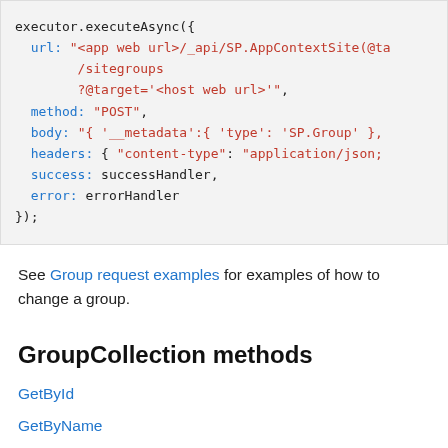executor.executeAsync({
    url: "<app web url>/_api/SP.AppContextSite(@ta
        /sitegroups
        ?@target='<host web url>'",
    method: "POST",
    body: "{ '__metadata':{ 'type': 'SP.Group' },
    headers: { "content-type": "application/json;
    success: successHandler,
    error: errorHandler
});
See Group request examples for examples of how to change a group.
GroupCollection methods
GetById
GetByName
RemoveById